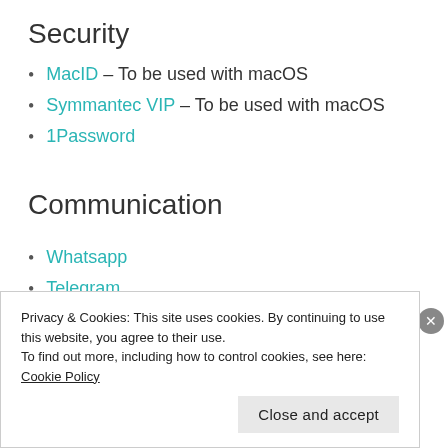Security
MacID – To be used with macOS
Symmantec VIP – To be used with macOS
1Password
Communication
Whatsapp
Telegram
Privacy & Cookies: This site uses cookies. By continuing to use this website, you agree to their use.
To find out more, including how to control cookies, see here: Cookie Policy